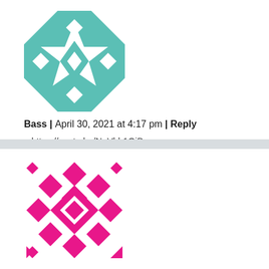[Figure (illustration): Teal/green geometric quilt-pattern avatar for user Bass]
Bass | April 30, 2021 at 4:17 pm | Reply
·· https://youtu.be/NpVhb1QjBrw
[Figure (illustration): Hot pink/magenta geometric diamond-pattern avatar for user Paul]
Paul | August 7, 2021 at 6:39 pm | Reply
the article tries to crush the theory of axis shift that is causing global warming , but now they have turned the idea on its head saying axis shift is because of global